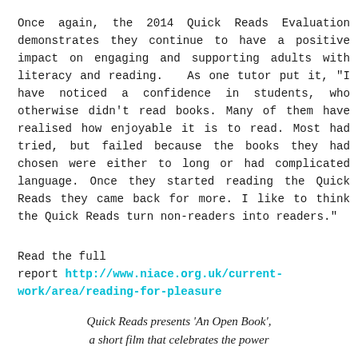Once again, the 2014 Quick Reads Evaluation demonstrates they continue to have a positive impact on engaging and supporting adults with literacy and reading.   As one tutor put it, "I have noticed a confidence in students, who otherwise didn't read books. Many of them have realised how enjoyable it is to read. Most had tried, but failed because the books they had chosen were either to long or had complicated language. Once they started reading the Quick Reads they came back for more. I like to think the Quick Reads turn non-readers into readers."
Read the full report http://www.niace.org.uk/current-work/area/reading-for-pleasure
Quick Reads presents 'An Open Book', a short film that celebrates the power